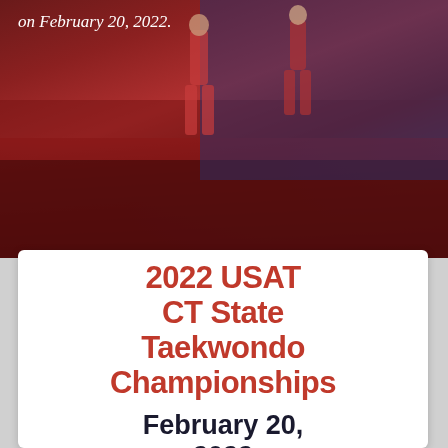[Figure (photo): Taekwondo competition photo showing athletes on a red and blue mat floor]
on February 20, 2022.
2022 USAT CT State Taekwondo Championships
February 20, 2022
Newtown Youth